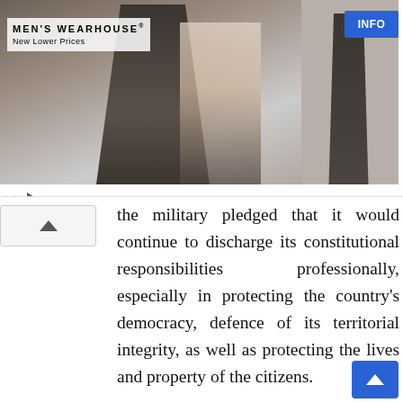[Figure (photo): Men's Wearhouse advertisement showing a couple posing in formal wear (man in dark suit, woman in formal dress) alongside a man in a dark suit on the right side, with blue INFO button]
the military pledged that it would continue to discharge its constitutional responsibilities professionally, especially in protecting the country's democracy, defence of its territorial integrity, as well as protecting the lives and property of the citizens. It added that the current security challenges in the country were not insurmountable, saying the Armed Forces and other security agencies were working assiduously to ameliorate the problems. Read t full statement by the military spokesman below: